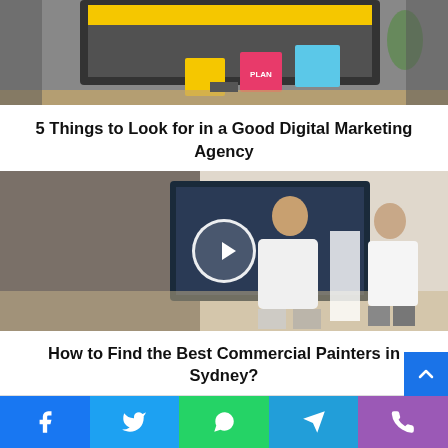[Figure (photo): Top cropped image showing a computer monitor with sticky notes (yellow, pink, blue) on a desk - digital marketing agency related image]
5 Things to Look for in a Good Digital Marketing Agency
[Figure (photo): Two men working on painting a wall, one mounting a TV screen, with a play button overlay - commercial painters in Sydney]
How to Find the Best Commercial Painters in Sydney?
[Figure (infographic): Social share bar with Facebook, Twitter, WhatsApp, Telegram, and Phone icons]